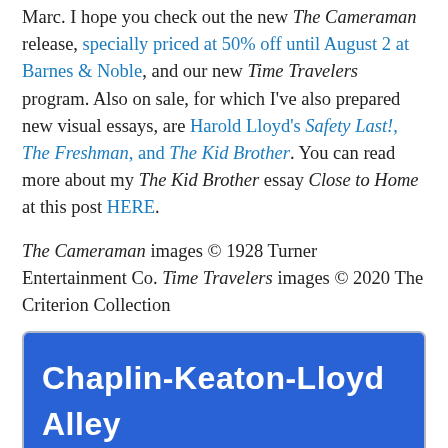Marc. I hope you check out the new The Cameraman release, specially priced at 50% off until August 2 at Barnes & Noble, and our new Time Travelers program. Also on sale, for which I've also prepared new visual essays, are Harold Lloyd's Safety Last!, The Freshman, and The Kid Brother. You can read more about my The Kid Brother essay Close to Home at this post HERE.
The Cameraman images © 1928 Turner Entertainment Co. Time Travelers images © 2020 The Criterion Collection
[Figure (other): Blue street sign graphic reading 'Chaplin-Keaton-Lloyd Alley' in white bold text on blue rounded rectangle background]
Please help support naming the Chaplin Keaton Lloyd alley by posting a review on Google maps at this link. Prototype sign design – Piet Schreuders. Download a 4-